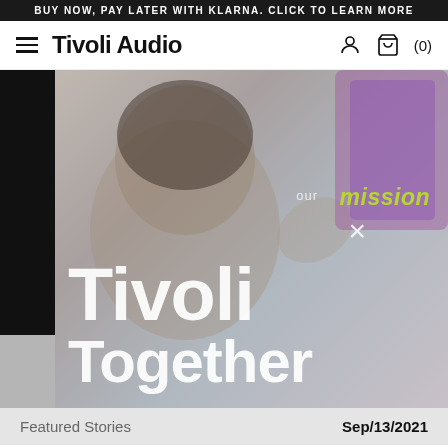BUY NOW, PAY LATER WITH KLARNA. CLICK TO LEARN MORE
Tivoli Audio
[Figure (photo): Hero image of a child looking at a colorful object, with text overlay reading 'our mission × Tivoli Together' on a muted photo background with a black sidebar strip]
Featured Stories
Sep/13/2021